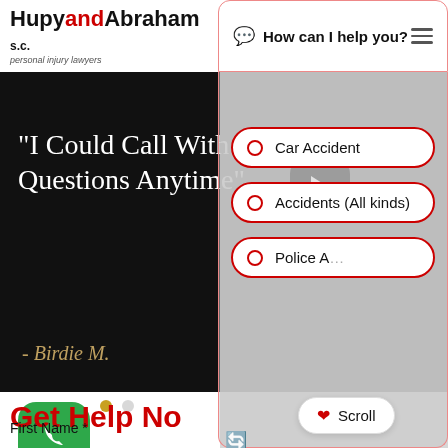[Figure (logo): Hupy and Abraham S.C. personal injury lawyers logo]
[Figure (screenshot): Chat widget header with 'How can I help you?' text and menu icon]
[Figure (screenshot): Dark video background with quote 'I Could Call With Questions Anytime' attributed to Birdie M., with a play button overlay, phone call button, and pagination dots]
[Figure (screenshot): Chat panel overlay showing options: Car Accident, Accidents (All kinds), Police A..., and a Scroll button]
Get Help No
First Name *